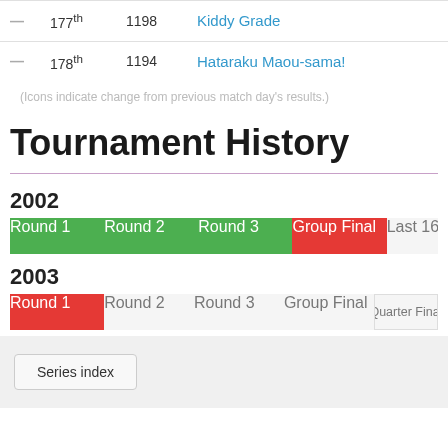|  | Rank | Score | Title |
| --- | --- | --- | --- |
| — | 177th | 1198 | Kiddy Grade |
| — | 178th | 1194 | Hataraku Maou-sama! |
(Icons indicate change from previous match day's results.)
Tournament History
2002
[Figure (infographic): 2002 tournament progress bar showing Round 1, Round 2, Round 3 in green, Group Final in red, Last 16 and Quarter (partial) in grey]
2003
[Figure (infographic): 2003 tournament progress bar showing Round 1 in red, Round 2, Round 3, Group Final, Quarter Final in grey]
Series index